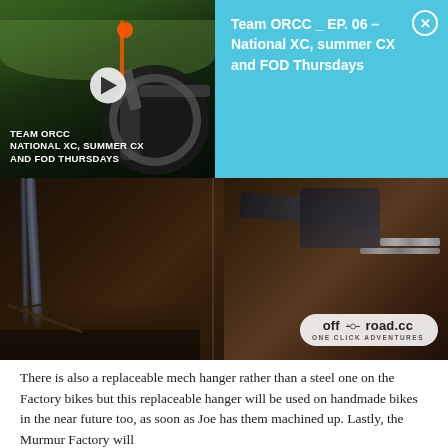[Figure (screenshot): Video thumbnail showing a cyclist riding a mountain bike on a muddy course with text overlay 'TEAM ORCC NATIONAL XC, SUMMER CX AND FOD THURSDAYS' and a play button]
Team ORCC _ EP. 06 – National XC, summer CX and FOD Thursdays
[Figure (photo): Close-up photo of a muddy mountain bike frame, dropouts and derailleur hanger area with off-road.cc ONE CLICK ADVENTURES logo overlay]
There is also a replaceable mech hanger rather than a steel one on the Factory bikes but this replaceable hanger will be used on handmade bikes in the near future too, as soon as Joe has them machined up. Lastly, the Murmur Factory will